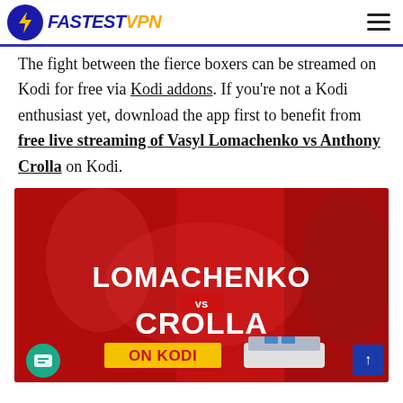FastestVPN
The fight between the fierce boxers can be streamed on Kodi for free via Kodi addons. If you're not a Kodi enthusiast yet, download the app first to benefit from free live streaming of Vasyl Lomachenko vs Anthony Crolla on Kodi.
[Figure (photo): Promotional boxing image showing Lomachenko vs Crolla on Kodi, with two boxers on a red background and text 'LOMACHENKO vs CROLLA ON KODI' with a Kodi device.]